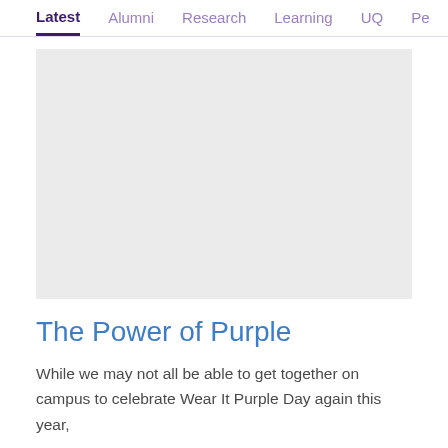Latest  Alumni  Research  Learning  UQ  Pe
[Figure (photo): Large rectangular image placeholder with light grey background, representing a photograph for the article about Wear It Purple Day.]
The Power of Purple
While we may not all be able to get together on campus to celebrate Wear It Purple Day again this year,